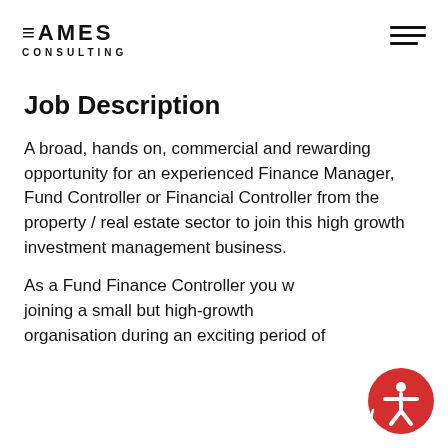EAMES CONSULTING
Job Description
A broad, hands on, commercial and rewarding opportunity for an experienced Finance Manager, Fund Controller or Financial Controller from the property / real estate sector to join this high growth investment management business.
As a Fund Finance Controller you will be joining a small but high-growth organisation during an exciting period of